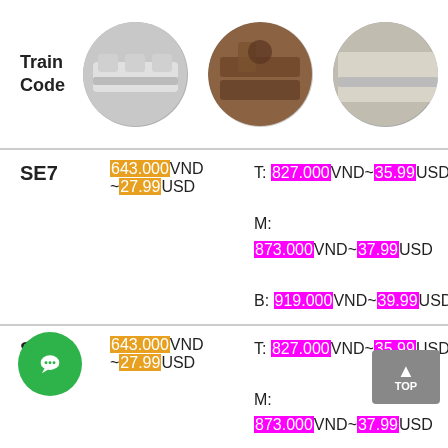[Figure (photo): Header row showing 'Train Code' label and two circular cropped photos of train seat interiors]
| Train Code | Soft Seat | Hard Sleeper | Soft Sleeper (partial) |
| --- | --- | --- | --- |
| SE7 | 643.000VND ~27.99USD | T: 827.000VND~35.99USD
M: 873.000VND~37.99USD
B: 919.000VND~39.99USD | T: 919... |
| SE5 | 643.000VND ~27.99USD | T: 827.000VND~35.99USD
M: 873.000VND~37.99USD
B: 919.000VND~39.99USD | T: 919... |
| (partial) | 643.000VND ~27.99USD | T: 827.000VND~35.99USD | T: 919... |